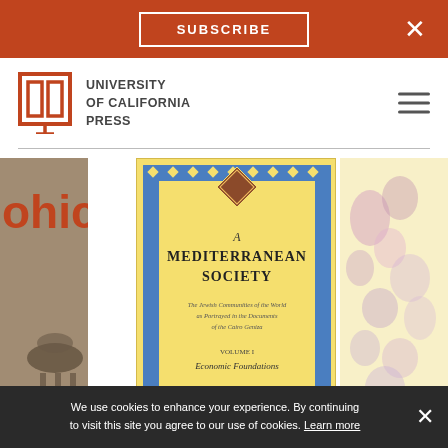SUBSCRIBE
[Figure (logo): University of California Press logo with open book icon and text: UNIVERSITY of CALIFORNIA PRESS]
[Figure (photo): Partial view of a book cover showing 'ohic' text in red, with a black and white photo of a person on horseback]
[Figure (photo): Book cover: A Mediterranean Society: The Jewish Communities of the World as Portrayed in the Documents of the Cairo Geniza, Volume I: Economic Foundations, by S. D. Goitein. Yellow cover with blue diamond-pattern border.]
[Figure (photo): Partial view of a third book cover with decorative pink/purple floral pattern on light yellow background]
We use cookies to enhance your experience. By continuing to visit this site you agree to our use of cookies. Learn more